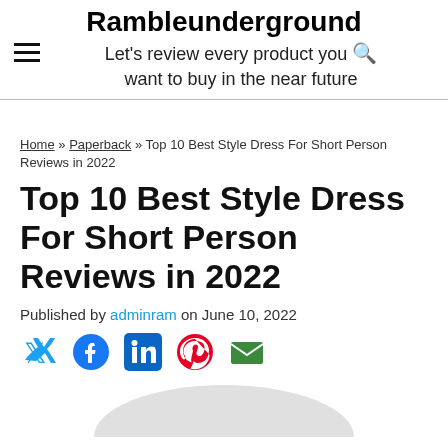Rambleunderground — Let's review every product you want to buy in the near future
Home » Paperback » Top 10 Best Style Dress For Short Person Reviews in 2022
Top 10 Best Style Dress For Short Person Reviews in 2022
Published by adminram on June 10, 2022
[Figure (other): Social sharing icons: Twitter, Facebook, LinkedIn, Pinterest, Email]
[Figure (photo): Partial product image visible at bottom of page, light gray background]